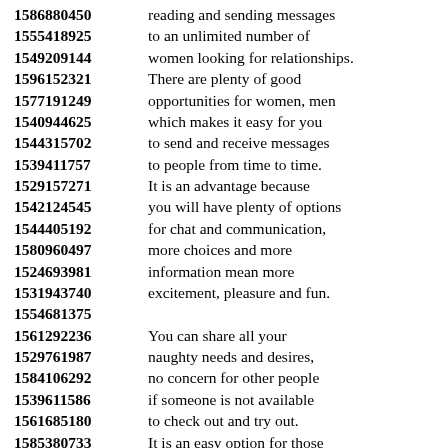1586880450 reading and sending messages
1555418925 to an unlimited number of
1549209144 women looking for relationships.
1596152321 There are plenty of good
1577191249 opportunities for women, men
1540944625 which makes it easy for you
1544315702 to send and receive messages
1539411757 to people from time to time.
1529157271 It is an advantage because
1542124545 you will have plenty of options
1544405192 for chat and communication,
1580960497 more choices and more
1524693981 information mean more
1531943740 excitement, pleasure and fun.
1554681375
1561292236 You can share all your
1529761987 naughty needs and desires,
1584106292 no concern for other people
1539611586 if someone is not available
1561685180 to check out and try out.
1585380733 It is an easy option for those
1579540989 who are already starting to
1515851282 get out there and get it done,
1574455470 simple men and women.
1511917568